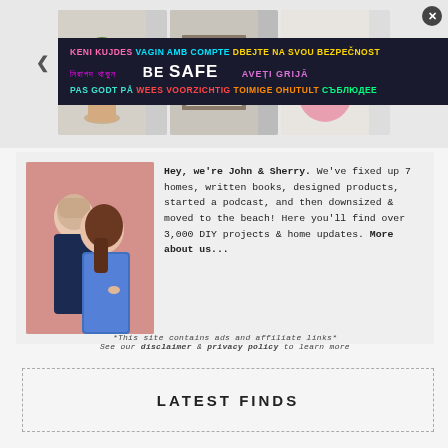[Figure (photo): Website screenshot showing a carousel with home decor images (plant, framed art, pink vase), a safety advertisement overlay banner with multilingual 'BE SAFE' text, navigation arrows, and close button]
[Figure (photo): Photo of a couple, John and Sherry, smiling together in front of a pink wall]
Hey, we're John & Sherry. We've fixed up 7 homes, written books, designed products, started a podcast, and then downsized & moved to the beach! Here you'll find over 3,000 DIY projects & home updates. More about us...
*This site contains ads and affiliate links*
See our disclaimer & privacy policy to learn more
LATEST FINDS